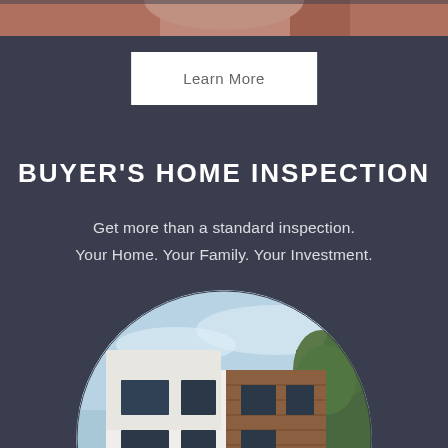[Figure (photo): Partial photo of a hand or person at the top of the page, cut off at the top edge]
Learn More
BUYER'S HOME INSPECTION
Get more than a standard inspection.
Your Home. Your Family. Your Investment.
[Figure (photo): Circular cropped photo of a modern white and wood-facade two-story house with green hedges and trees, blue sky background]